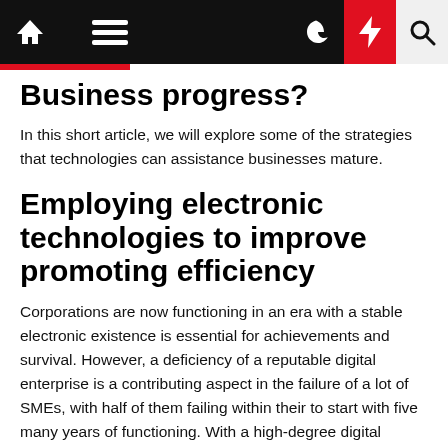Navigation bar with home, menu, moon, lightning, and search icons
Business progress?
In this short article, we will explore some of the strategies that technologies can assistance businesses mature.
Employing electronic technologies to improve promoting efficiency
Corporations are now functioning in an era with a stable electronic existence is essential for achievements and survival. However, a deficiency of a reputable digital enterprise is a contributing aspect in the failure of a lot of SMEs, with half of them failing within their to start with five many years of functioning. With a high-degree digital technique, SMEs